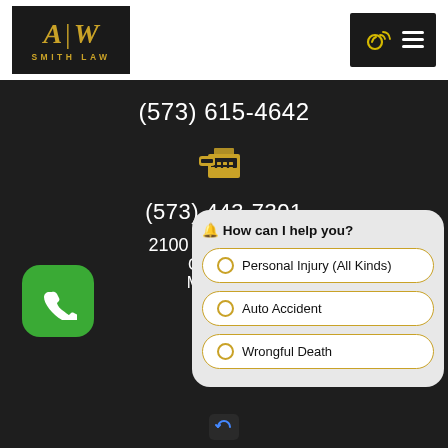[Figure (logo): AW Smith Law logo — gold letters A|W on dark background with SMITH LAW text below]
[Figure (other): Phone/menu navigation button — dark background with phone icon and hamburger menu lines]
(573) 615-4642
[Figure (other): Gold fax machine icon]
(573) 443-7301
[Figure (other): Green phone button with white phone handset icon]
2100 W. Broadway
Columbia,
MO 65203
Get
[Figure (other): Chatbot overlay with message 'How can I help you?' and three options: Personal Injury (All Kinds), Auto Accident, Wrongful Death]